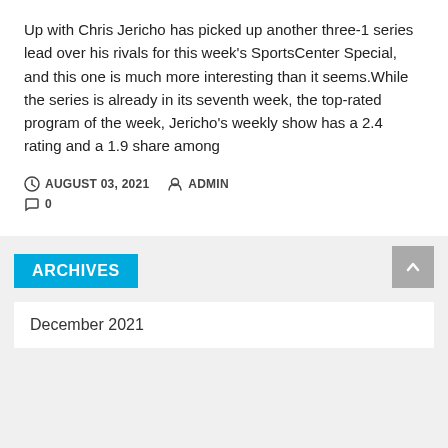Up with Chris Jericho has picked up another three-1 series lead over his rivals for this week's SportsCenter Special, and this one is much more interesting than it seems.While the series is already in its seventh week, the top-rated program of the week, Jericho's weekly show has a 2.4 rating and a 1.9 share among
AUGUST 03, 2021  ADMIN  0
ARCHIVES
December 2021